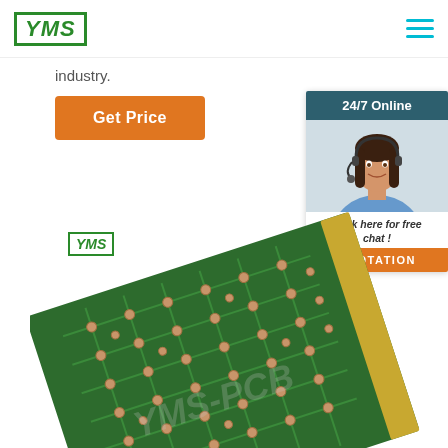[Figure (logo): YMS logo in green bordered rectangle, top left header]
[Figure (illustration): Hamburger menu icon (three horizontal teal lines), top right header]
industry.
[Figure (other): Orange 'Get Price' button]
[Figure (other): 24/7 Online chat widget with agent photo, 'Click here for free chat!' text, and orange QUOTATION button]
[Figure (logo): Small YMS logo in green bordered rectangle]
[Figure (photo): Green PCB (printed circuit board) with copper pads and traces, angled view, with YMS watermark overlay]